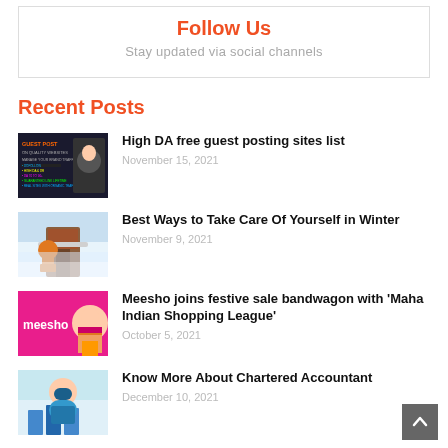Follow Us
Stay updated via social channels
Recent Posts
High DA free guest posting sites list
November 15, 2021
Best Ways to Take Care Of Yourself in Winter
November 9, 2021
Meesho joins festive sale bandwagon with 'Maha Indian Shopping League'
October 5, 2021
Know More About Chartered Accountant
December 10, 2021